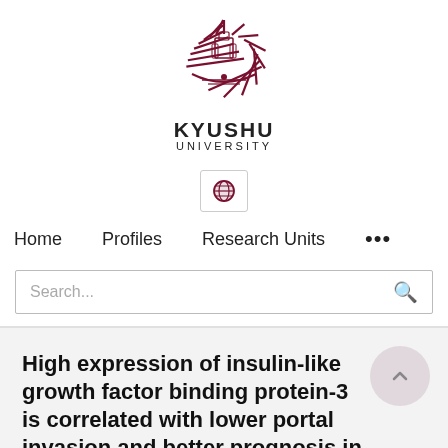[Figure (logo): Kyushu University logo - a stylized sunburst/fan emblem in dark red/maroon with ornate details]
KYUSHU
UNIVERSITY
[Figure (screenshot): Globe/language selector button icon]
Home   Profiles   Research Units   ...
Search...
High expression of insulin-like growth factor binding protein-3 is correlated with lower portal invasion and better prognosis in